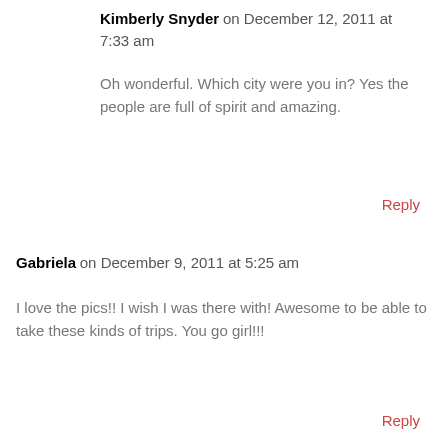Kimberly Snyder on December 12, 2011 at 7:33 am
Oh wonderful. Which city were you in? Yes the people are full of spirit and amazing.
Reply
Gabriela on December 9, 2011 at 5:25 am
I love the pics!! I wish I was there with! Awesome to be able to take these kinds of trips. You go girl!!!
Reply